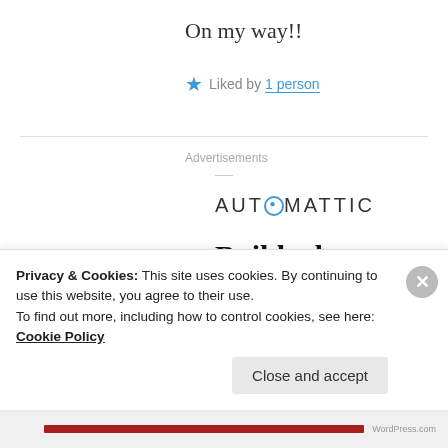On my way!!
★ Liked by 1 person
Advertisements
[Figure (logo): Automattic logo with stylized circle-O in the word AUTOMATTIC]
Build a better web and a better world.
Privacy & Cookies: This site uses cookies. By continuing to use this website, you agree to their use.
To find out more, including how to control cookies, see here: Cookie Policy
Close and accept